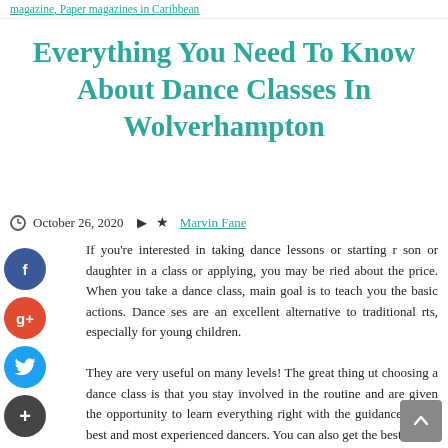magazine, Paper magazines in Caribbean
Everything You Need To Know About Dance Classes In Wolverhampton
October 26, 2020  Marvin Fane
If you're interested in taking dance lessons or starting r son or daughter in a class or applying, you may be ried about the price. When you take a dance class, main goal is to teach you the basic actions. Dance ses are an excellent alternative to traditional rts, especially for young children.

They are very useful on many levels! The great thing ut choosing a dance class is that you stay involved in the routine and are given the opportunity to learn everything right with the guidance of the best and most experienced dancers. You can also get the best da classes in Wolverhampton